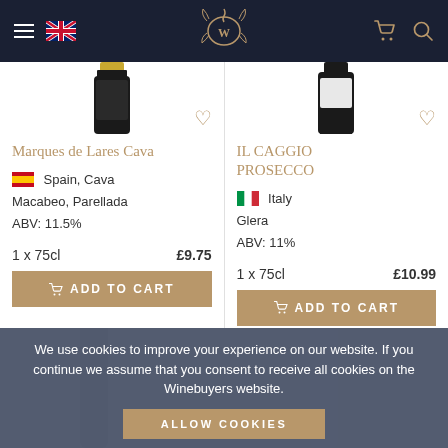[Figure (screenshot): Website header with dark navy background, hamburger menu icon, UK flag, ornate W logo in center, cart icon and search icon on right]
[Figure (photo): Partial top of dark wine bottle with gold foil cap - Marques de Lares Cava]
Marques de Lares Cava
Spain, Cava
Macabeo, Parellada
ABV: 11.5%
1 x 75cl  £9.75
ADD TO CART
[Figure (photo): Partial top of dark wine bottle with white label - IL CAGGIO PROSECCO]
IL CAGGIO PROSECCO
Italy
Glera
ABV: 11%
1 x 75cl  £10.99
ADD TO CART
We use cookies to improve your experience on our website. If you continue we assume that you consent to receive all cookies on the Winebuyers website.
ALLOW COOKIES